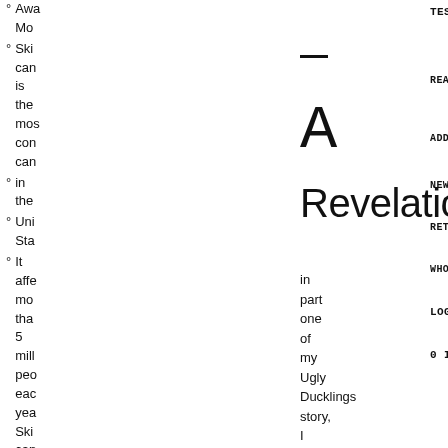Awa... Mor...
Ski... can... is the mos... con... can...
in the
Uni... Sta...
It affe... mor... tha... 5 mill... peo... eac... yea... Ski... can... can...
— A Revelation in part one of my Ugly Ducklings story, I explained the process and reasons I went through having three...
KEYS OF HIT
TESTIMONIALS ▾
READ TESTIMONIALS
ADD A TESTIMONIAL →
NEWSLETTER ARCHIVE
RETURN POLICY-LOSS
WHOLESALE INFORMATION
LOGIN/REGISTER
0 ITEMS$0.00